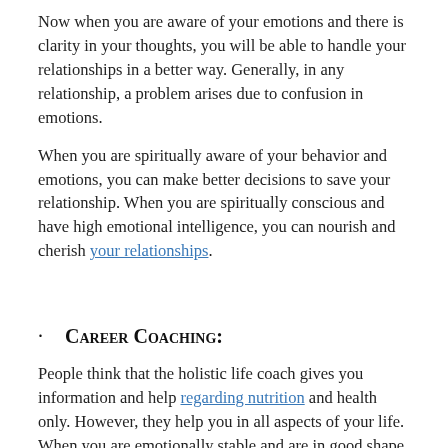Now when you are aware of your emotions and there is clarity in your thoughts, you will be able to handle your relationships in a better way. Generally, in any relationship, a problem arises due to confusion in emotions.
When you are spiritually aware of your behavior and emotions, you can make better decisions to save your relationship. When you are spiritually conscious and have high emotional intelligence, you can nourish and cherish your relationships.
· Career Coaching:
People think that the holistic life coach gives you information and help regarding nutrition and health only. However, they help you in all aspects of your life. When you are emotionally stable and are in good shape, you can perform well at work.
Besides, they can help you to improve your productivity and